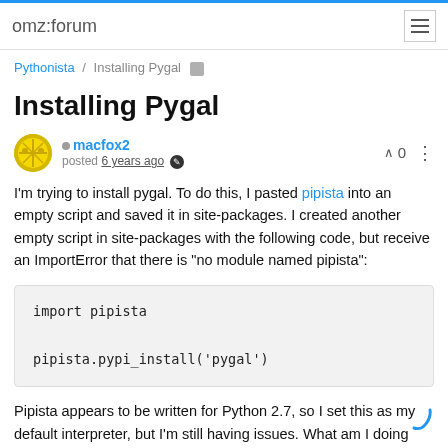omz:forum
Pythonista / Installing Pygal
Installing Pygal
macfox2 posted 6 years ago  ∧ 0
I'm trying to install pygal. To do this, I pasted pipista into an empty script and saved it in site-packages. I created another empty script in site-packages with the following code, but receive an ImportError that there is "no module named pipista":
import pipista

pipista.pypi_install('pygal')
Pipista appears to be written for Python 2.7, so I set this as my default interpreter, but I'm still having issues. What am I doing